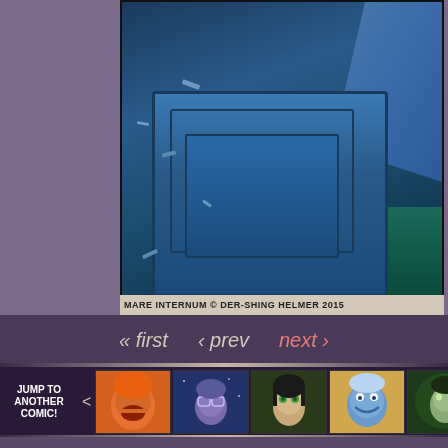[Figure (illustration): Comic panel showing a blue sci-fi console or machine against a dark blue background, with a mechanical arm visible in the upper right and a teal floor area. Small debris pieces scattered around. Part of Mare Internum webcomic.]
MARE INTERNUM © DER-SHING HELMER 2015
« first  ‹ prev  next ›
[Figure (illustration): Comic selector strip with label JUMP TO ANOTHER COMIC! and 5 thumbnail images of comic characters: an angry orange-haired person screaming, a purple-toned person with glasses, a person with green eyes and dark hair, a blue-skinned creature smiling, and a green-tinted person.]
Intro, Page 1